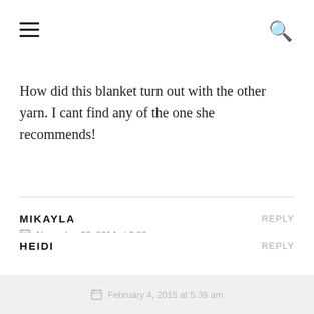☰  🔍
How did this blanket turn out with the other yarn. I cant find any of the one she recommends!
MIKAYLA — REPLY
November 26, 2014 at 2:00 pm
What yarn did you use? im from canada and cant get any of these yarns!! 😕
HEIDI — REPLY
February 4, 2015 at 5:39 am